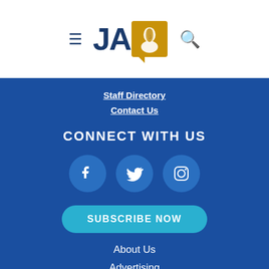[Figure (logo): JA publication logo with blue text 'JA', gold badge with face silhouette, hamburger menu icon on left, search icon on right]
Staff Directory
Contact Us
CONNECT WITH US
[Figure (infographic): Three circular social media icons: Facebook, Twitter, Instagram on blue background]
SUBSCRIBE NOW
About Us
Advertising